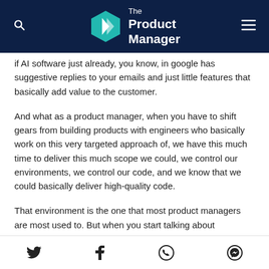The Product Manager
if AI software just already, you know, in google has suggestive replies to your emails and just little features that basically add value to the customer.
And what as a product manager, when you have to shift gears from building products with engineers who basically work on this very targeted approach of, we have this much time to deliver this much scope we could, we control our environments, we control our code, and we know that we could basically deliver high-quality code.
That environment is the one that most product managers are most used to. But when you start talking about
Twitter | Facebook | WhatsApp | Messenger